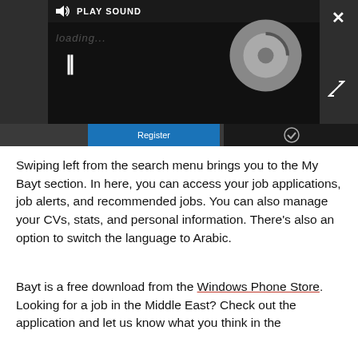[Figure (screenshot): A dark-themed video/audio player UI with 'PLAY SOUND' label, a loading disc spinner, pause button, and a Register tab with a checkmark tab below. This appears to be a Windows Phone media player interface.]
Swiping left from the search menu brings you to the My Bayt section. In here, you can access your job applications, job alerts, and recommended jobs. You can also manage your CVs, stats, and personal information. There's also an option to switch the language to Arabic.
Bayt is a free download from the Windows Phone Store. Looking for a job in the Middle East? Check out the application and let us know what you think in the